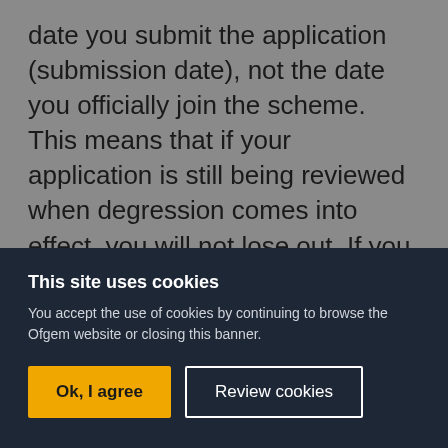date you submit the application (submission date), not the date you officially join the scheme. This means that if your application is still being reviewed when degression comes into effect, you will not lose out. If you encounter technical problems submitting your application before a degression date, please contact us in writing in advance.
Please note that the scheme is closing
This site uses cookies
You accept the use of cookies by continuing to browse the Ofgem website or closing this banner.